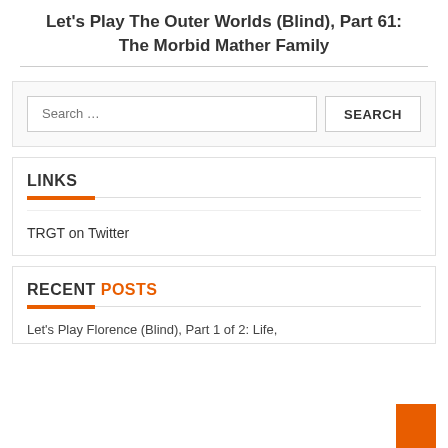Let's Play The Outer Worlds (Blind), Part 61: The Morbid Mather Family
LINKS
TRGT on Twitter
RECENT POSTS
Let's Play Florence (Blind), Part 1 of 2: Life,